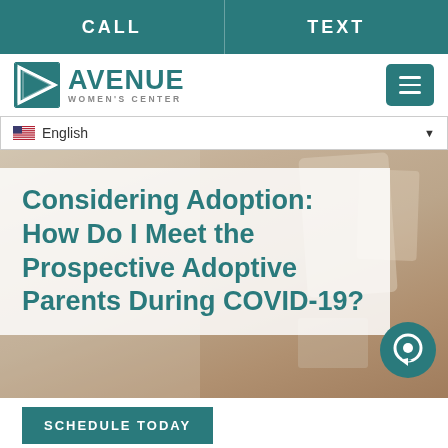CALL | TEXT
[Figure (logo): Avenue Women's Center logo with teal square icon and teal/gray text]
English
Considering Adoption: How Do I Meet the Prospective Adoptive Parents During COVID-19?
[Figure (screenshot): Background photo of a person at a desk, blurred]
SCHEDULE TODAY